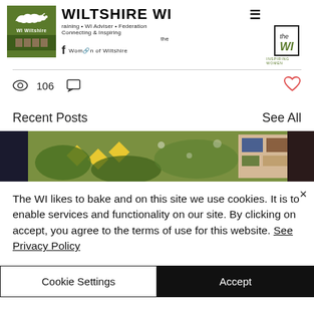[Figure (screenshot): Wiltshire WI website header with green logo box containing a dog silhouette, site title WILTSHIRE WI, navigation text, Facebook icon, theWI logo, and hamburger menu]
106
Recent Posts
See All
[Figure (photo): Three partially visible thumbnail images of recent posts including a Christmas/holiday decoration scene]
The WI likes to bake and on this site we use cookies. It is to enable services and functionality on our site. By clicking on accept, you agree to the terms of use for this website. See Privacy Policy
Cookie Settings
Accept